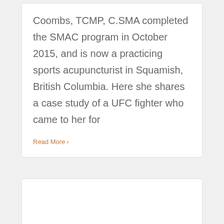Coombs, TCMP, C.SMA completed the SMAC program in October 2015, and is now a practicing sports acupuncturist in Squamish, British Columbia. Here she shares a case study of a UFC fighter who came to her for
Read More >